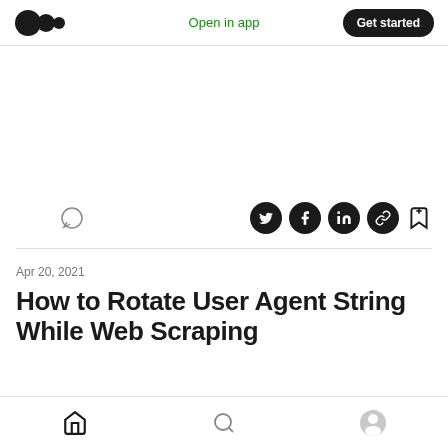Open in app  Get started
[Figure (infographic): Social action bar with clap icon, comment icon, Twitter, Facebook, LinkedIn, link share icons, and bookmark icon]
Apr 20, 2021
How to Rotate User Agent String While Web Scraping
Home  Search  Profile